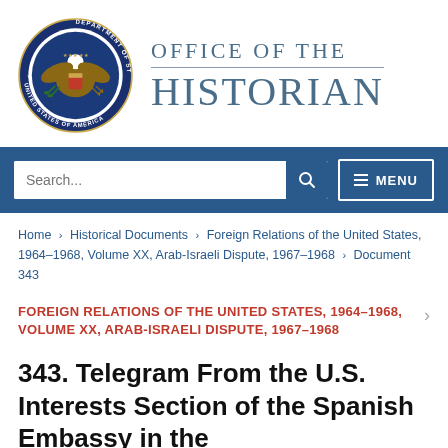[Figure (logo): U.S. Department of State seal and Office of the Historian logo]
Search...  MENU
Home › Historical Documents › Foreign Relations of the United States, 1964–1968, Volume XX, Arab-Israeli Dispute, 1967–1968 › Document 343
FOREIGN RELATIONS OF THE UNITED STATES, 1964–1968, VOLUME XX, ARAB-ISRAELI DISPUTE, 1967–1968
343. Telegram From the U.S. Interests Section of the Spanish Embassy in the